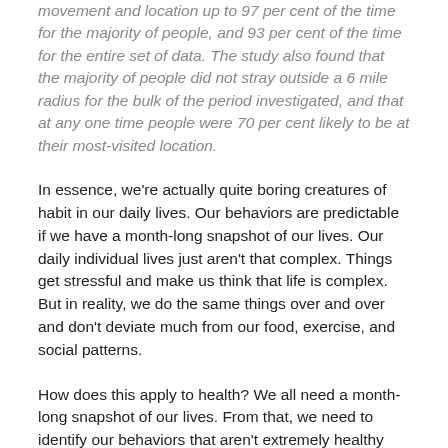movement and location up to 97 per cent of the time for the majority of people, and 93 per cent of the time for the entire set of data. The study also found that the majority of people did not stray outside a 6 mile radius for the bulk of the period investigated, and that at any one time people were 70 per cent likely to be at their most-visited location.
In essence, we're actually quite boring creatures of habit in our daily lives. Our behaviors are predictable if we have a month-long snapshot of our lives. Our daily individual lives just aren't that complex. Things get stressful and make us think that life is complex. But in reality, we do the same things over and over and don't deviate much from our food, exercise, and social patterns.
How does this apply to health? We all need a month-long snapshot of our lives. From that, we need to identify our behaviors that aren't extremely healthy and commit to small changes over time. These are new, Apple Store-like